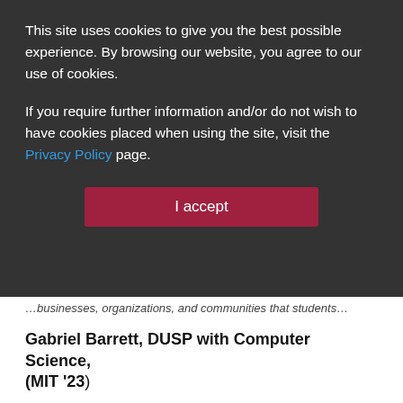This site uses cookies to give you the best possible experience. By browsing our website, you agree to our use of cookies.
If you require further information and/or do not wish to have cookies placed when using the site, visit the Privacy Policy page.
I accept
...businesses, organizations, and communities that students...
Gabriel Barrett, DUSP with Computer Science, (MIT '23)
Gabriel is interested in the use of data and visualizations to tell stories and reveal the successes and shortcomings of urban planning initiatives. This summer, Gabriel will work with the Arlington County, VA Department of Transportation to help develop a